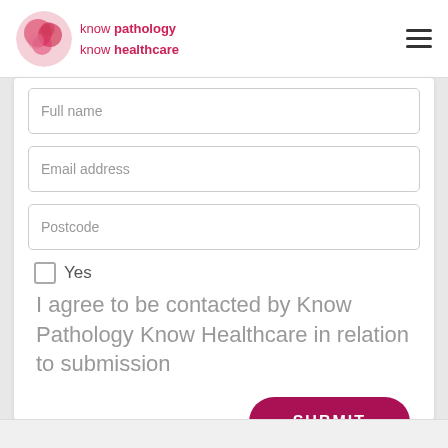know pathology know healthcare
Full name
Email address
Postcode
Yes
I agree to be contacted by Know Pathology Know Healthcare in relation to submission
SUBMIT